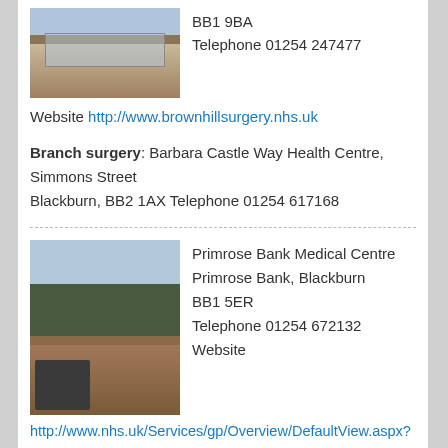[Figure (photo): Photo of Brownhill Surgery building exterior, red brick building with large windows]
BB1 9BA
Telephone 01254 247477
Website http://www.brownhillsurgery.nhs.uk
Branch surgery: Barbara Castle Way Health Centre, Simmons Street
Blackburn, BB2 1AX Telephone 01254 617168
[Figure (photo): Photo of Primrose Bank Medical Centre building exterior]
Primrose Bank Medical Centre
Primrose Bank, Blackburn
BB1 5ER
Telephone 01254 672132
Website
http://www.nhs.uk/Services/gp/Overview/DefaultView.aspx?